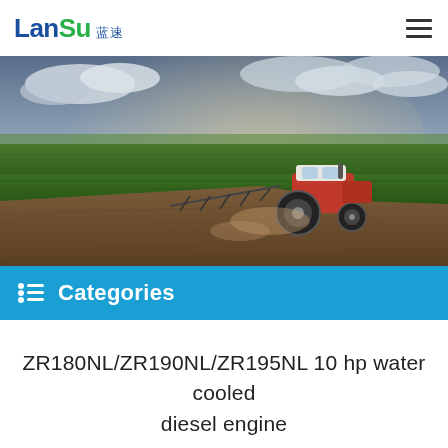LanSu 蓝速
[Figure (photo): Wide-angle photo of a red tractor pulling farm equipment across a green agricultural field under a dramatic cloudy sky]
Categories
ZR180NL/ZR190NL/ZR195NL 10 hp water cooled diesel engine